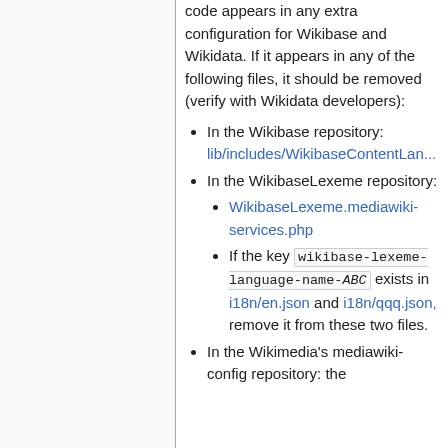code appears in any extra configuration for Wikibase and Wikidata. If it appears in any of the following files, it should be removed (verify with Wikidata developers):
In the Wikibase repository: lib/includes/WikibaseContentLan...
In the WikibaseLexeme repository:
WikibaseLexeme.mediawiki-services.php
If the key wikibase-lexeme-language-name-ABC exists in i18n/en.json and i18n/qqq.json, remove it from these two files.
In the Wikimedia's mediawiki-config repository: the